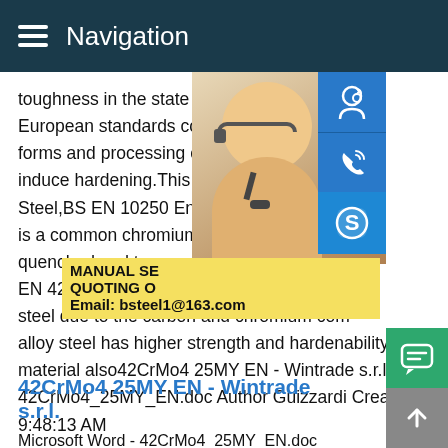Navigation
toughness in the state of being quenched European standards cover the specificatio forms and processing conditions.The stee induce hardening.This steel grade is usua Steel,BS EN 10250 Engineering SteelBS E is a common chromium-molybdenum stee quenched and tempered,with high intensit EN 42CrMo4 round steel has better perfor steel due to the carbon and chromium com alloy steel has higher strength and hardenability material also42CrMo4 25MY EN - Wintrade s.r.l.Microsoft Word - 42CrMo4_25MY_EN.doc Author Guizzardi Created Date 3/31/2018 9:48:13 AM
[Figure (photo): Woman with headset customer service representative photo with blue icon buttons for support, phone, and Skype on the right sidebar. Yellow overlay box with text: MANUAL SE, QUOTING O, Email: bsteel1@163.com]
42CrMo4 25MY EN - Wintrade s.r.l.
Microsoft Word - 42CrMo4 25MY EN.doc Author Guizzardi